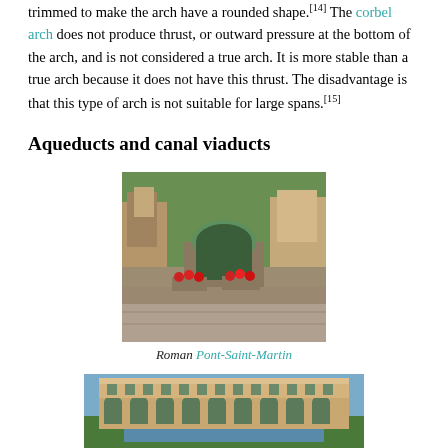trimmed to make the arch have a rounded shape.[14] The corbel arch does not produce thrust, or outward pressure at the bottom of the arch, and is not considered a true arch. It is more stable than a true arch because it does not have this thrust. The disadvantage is that this type of arch is not suitable for large spans.[15]
Aqueducts and canal viaducts
[Figure (photo): Photograph of the Roman Pont-Saint-Martin, a stone arch bridge with red flowers on the parapet wall and green hills in the background.]
Roman Pont-Saint-Martin
[Figure (photo): Photograph of a large ancient Roman aqueduct with multiple tiers of arches spanning a river, surrounded by green trees and rocky landscape.]